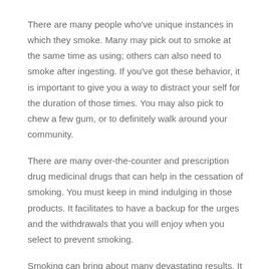There are many people who've unique instances in which they smoke. Many may pick out to smoke at the same time as using; others can also need to smoke after ingesting. If you've got these behavior, it is important to give you a way to distract your self for the duration of those times. You may also pick to chew a few gum, or to definitely walk around your community.
There are many over-the-counter and prescription drug medicinal drugs that can help in the cessation of smoking. You must keep in mind indulging in those products. It facilitates to have a backup for the urges and the withdrawals that you will enjoy when you select to prevent smoking.
Smoking can bring about many devastating results. It is important to make certain that you learn all that you may approximately smoking and to avoid it when it is possible. There are many methods to prevent smoking, however the simplest method is